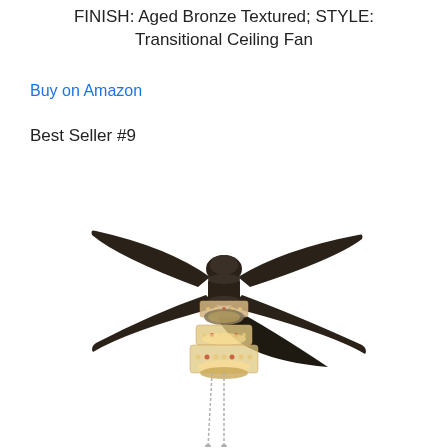FINISH: Aged Bronze Textured; STYLE: Transitional Ceiling Fan
Buy on Amazon
Best Seller #9
[Figure (photo): A transitional ceiling fan with 5 dark/black blades and an aged bronze textured finish, featuring a decorative crystal/beaded light kit with multiple tiers, and a pull chain hanging from the bottom.]